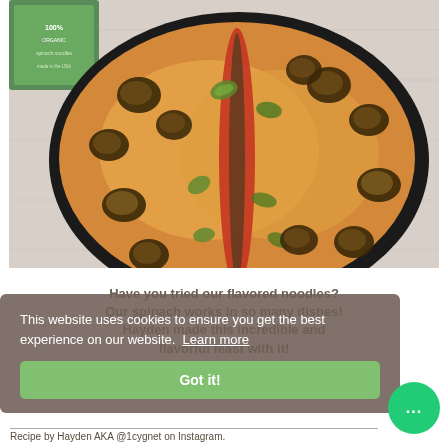[Figure (photo): Top-down photo of a cast iron skillet containing a creamy orange/yellow dip or dish topped with roasted garlic cloves, sliced jalapeños, a stripe of red chili powder and herbs down the center. A green product box is visible in the upper left corner. The skillet is on a white wooden surface.]
Have you tried our flavored noodles? Our spinach works in so many dishes! Hayden made this incredible and flavorful feast with it!
This website uses cookies to ensure you get the best experience on our website. Learn more
Got it!
Recipe by Hayden AKA @1cygnet on Instagram.